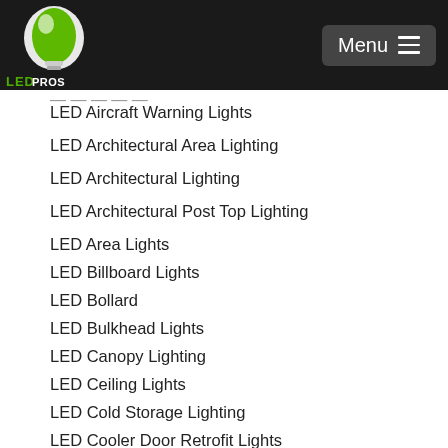LED PROS — Menu
LED Aircraft Warning Lights
LED Architectural Area Lighting
LED Architectural Lighting
LED Architectural Post Top Lighting
LED Area Lights
LED Billboard Lights
LED Bollard
LED Bulkhead Lights
LED Canopy Lighting
LED Ceiling Lights
LED Cold Storage Lighting
LED Cooler Door Retrofit Lights
LED Corn Cob Light Bulbs